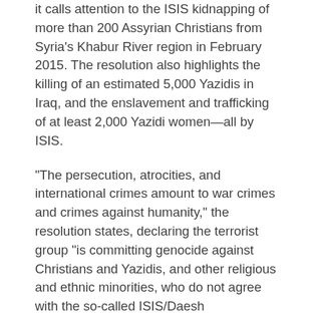it calls attention to the ISIS kidnapping of more than 200 Assyrian Christians from Syria's Khabur River region in February 2015. The resolution also highlights the killing of an estimated 5,000 Yazidis in Iraq, and the enslavement and trafficking of at least 2,000 Yazidi women—all by ISIS.
“The persecution, atrocities, and international crimes amount to war crimes and crimes against humanity,” the resolution states, declaring the terrorist group “is committing genocide against Christians and Yazidis, and other religious and ethnic minorities, who do not agree with the so-called ISIS/Daesh interpretation of Islam.”
The EU action came eight days after the Council of Europe’s parliamentary assembly—a nonbinding human rights body that’s nevertheless larger than the EU with 47 members states—overwhelmingly passed a similar resolution, 117-1. The European genocide rulings